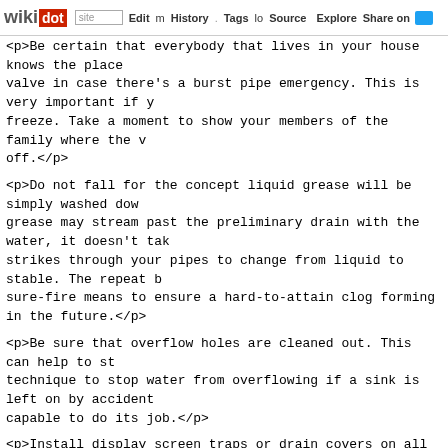wikidot | site | Edit | History | Tags | Source | Explore | Share on
<p>Be certain that everybody that lives in your house knows the place valve in case there's a burst pipe emergency. This is very important if freeze. Take a moment to show your members of the family where the v off.</p>
<p>Do not fall for the concept liquid grease will be simply washed dow grease may stream past the preliminary drain with the water, it doesn't tak strikes through your pipes to change from liquid to stable. The repeat b sure-fire means to ensure a hard-to-attain clog forming in the future.</p>
<p>Be sure that overflow holes are cleaned out. This can help to st technique to stop water from overflowing if a sink is left on by accident capable to do its job.</p>
<p>Install display screen traps or drain covers on all of your sinks and t about clogged pipes. These could be brought on by debris, especially entice means that you could clear this debris off earlier than it ends up wit
<p>Make certain everyone in your house is aware of the place the princip the way to work it. That manner, if there is a water problem, anyone in reducing the probabilities that your house will incur major water harm.</p>
<p>If your home has low water stress, you'll be able to usually repair the fixtures. To scrub the aerator, you first wish to disassemble the faucet and and scrub it clear with a fine brush. You should use vinegar or some oth task. Rinse it and put it back on the faucet. Things It is advisable to Kno help elevate water pressure, as any aerator obstacles will likely be gone.<
<p>To achieve success in any plumbing challenge, be sure you turn the This tip may really sound insulting, but you're probably getting sought u